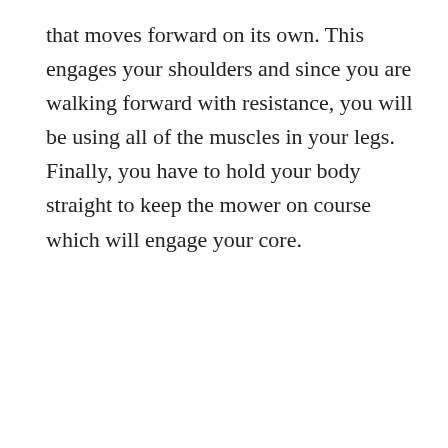that moves forward on its own. This engages your shoulders and since you are walking forward with resistance, you will be using all of the muscles in your legs. Finally, you have to hold your body straight to keep the mower on course which will engage your core.